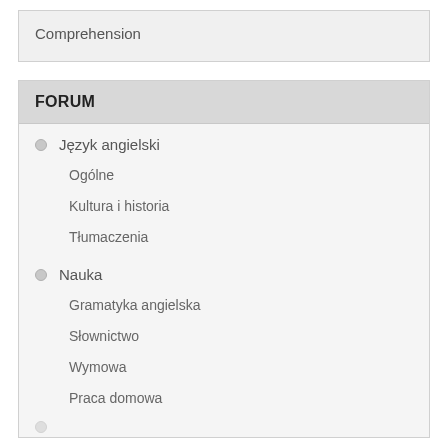Comprehension
FORUM
Język angielski
Ogólne
Kultura i historia
Tłumaczenia
Nauka
Gramatyka angielska
Słownictwo
Wymowa
Praca domowa